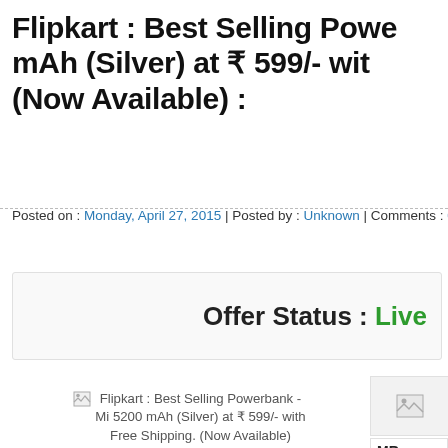Flipkart : Best Selling Powerbank - Mi 5200 mAh (Silver) at ₹ 599/- with Free Shipping. (Now Available) :
Posted on : Monday, April 27, 2015 | Posted by : Unknown | Comments : 0
Offer Status : Live
[Figure (photo): Broken image placeholder for Flipkart : Best Selling Powerbank - Mi 5200 mAh (Silver) at ₹ 599/- with Free Shipping. (Now Available)]
MR... ₹ 59...
Mi Powerbank 5200mAh, silver color now available at flipkart.com. Limited Stock